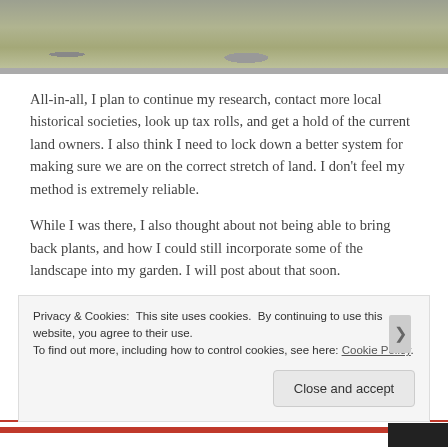[Figure (photo): Partial photo of a grassy outdoor area with stones, bottom portion of a garden or field scene.]
All-in-all, I plan to continue my research, contact more local historical societies, look up tax rolls, and get a hold of the current land owners. I also think I need to lock down a better system for making sure we are on the correct stretch of land. I don't feel my method is extremely reliable.
While I was there, I also thought about not being able to bring back plants, and how I could still incorporate some of the landscape into my garden. I will post about that soon.
Privacy & Cookies: This site uses cookies. By continuing to use this website, you agree to their use.
To find out more, including how to control cookies, see here: Cookie Policy